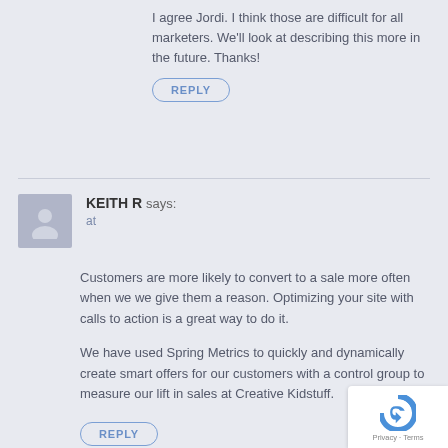I agree Jordi. I think those are difficult for all marketers. We'll look at describing this more in the future. Thanks!
REPLY
KEITH R says: at
Customers are more likely to convert to a sale more often when we we give them a reason. Optimizing your site with calls to action is a great way to do it.
We have used Spring Metrics to quickly and dynamically create smart offers for our customers with a control group to measure our lift in sales at Creative Kidstuff.
REPLY
[Figure (logo): reCAPTCHA badge with logo and Privacy/Terms links]